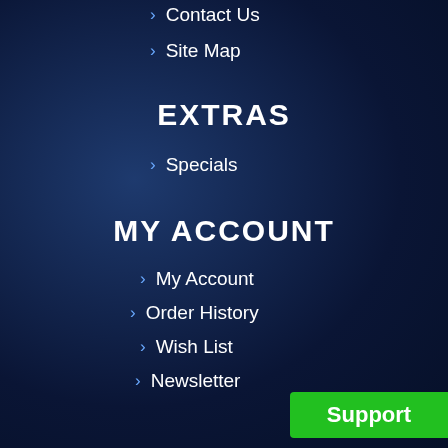> Contact Us
> Site Map
EXTRAS
> Specials
MY ACCOUNT
> My Account
> Order History
> Wish List
> Newsletter
[Figure (illustration): Hexagonal honeycomb pattern overlay in blue tones on bottom-right corner]
Support